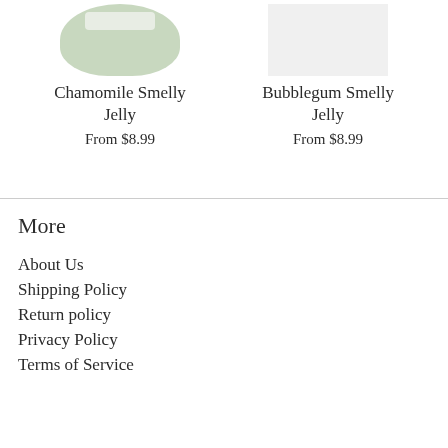[Figure (photo): Product image of Chamomile Smelly Jelly jar with green color and label]
[Figure (photo): Product image of Bubblegum Smelly Jelly with light/white background]
Chamomile Smelly Jelly
From $8.99
Bubblegum Smelly Jelly
From $8.99
More
About Us
Shipping Policy
Return policy
Privacy Policy
Terms of Service